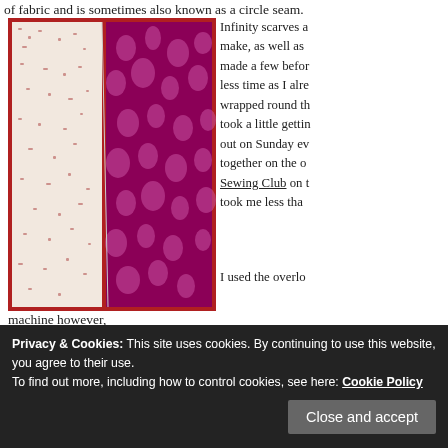of fabric and is sometimes also known as a circle seam.
[Figure (photo): Two pieces of patterned fabric laid flat on a red table: left piece has a white background with small red/blue scattered pattern, right piece has a dark magenta/pink floral/skull pattern on dark background.]
Infinity scarves are make, as well as made a few before less time as I alre wrapped round th took a little gettin out on Sunday ev together on the o Sewing Club on t took me less tha
I used the overlo
machine however,
Privacy & Cookies: This site uses cookies. By continuing to use this website, you agree to their use.
To find out more, including how to control cookies, see here: Cookie Policy
Close and accept